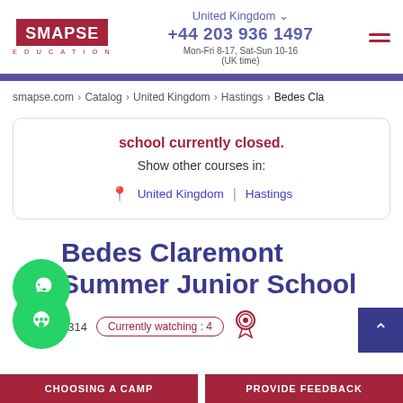SMAPSE EDUCATION | United Kingdom | +44 203 936 1497 | Mon-Fri 8-17, Sat-Sun 10-16 (UK time)
smapse.com > Catalog > United Kingdom > Hastings > Bedes Cla
school currently closed.
Show other courses in:
United Kingdom | Hastings
Bedes Claremont Summer Junior School
1314  Currently watching : 4
CHOOSING A CAMP  PROVIDE FEEDBACK